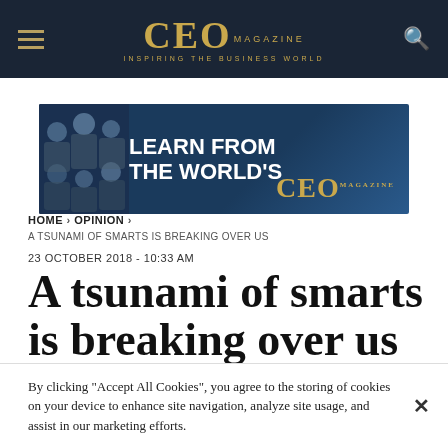CEO MAGAZINE — INSPIRING THE BUSINESS WORLD
[Figure (illustration): Advertisement banner: LEARN FROM THE WORLD'S with CEO Magazine logo and photos of business leaders on dark blue background]
HOME › OPINION ›
A TSUNAMI OF SMARTS IS BREAKING OVER US
23 OCTOBER 2018 - 10:33 AM
A tsunami of smarts is breaking over us
By clicking "Accept All Cookies", you agree to the storing of cookies on your device to enhance site navigation, analyze site usage, and assist in our marketing efforts.